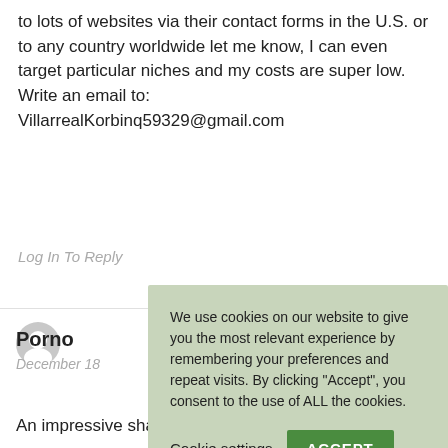to lots of websites via their contact forms in the U.S. or to any country worldwide let me know, I can even target particular niches and my costs are super low. Write an email to:
VillarrealKorbinq59329@gmail.com
Log In To Reply
[Figure (other): User avatar icon - grey circle with white silhouette of a person]
Porno
December 18
An impressive share! I have just forwarded
We use cookies on our website to give you the most relevant experience by remembering your preferences and repeat visits. By clicking “Accept”, you consent to the use of ALL the cookies.
Cookie settings
ACCEPT